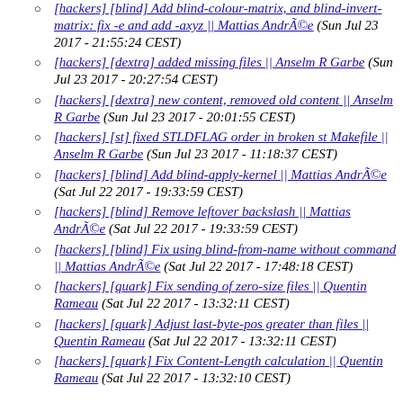[hackers] [blind] Add blind-colour-matrix, and blind-invert-matrix: fix -e and add -axyz || Mattias Andréé (Sun Jul 23 2017 - 21:55:24 CEST)
[hackers] [dextra] added missing files || Anselm R Garbe (Sun Jul 23 2017 - 20:27:54 CEST)
[hackers] [dextra] new content, removed old content || Anselm R Garbe (Sun Jul 23 2017 - 20:01:55 CEST)
[hackers] [st] fixed STLDFLAG order in broken st Makefile || Anselm R Garbe (Sun Jul 23 2017 - 11:18:37 CEST)
[hackers] [blind] Add blind-apply-kernel || Mattias Andréé (Sat Jul 22 2017 - 19:33:59 CEST)
[hackers] [blind] Remove leftover backslash || Mattias Andréé (Sat Jul 22 2017 - 19:33:59 CEST)
[hackers] [blind] Fix using blind-from-name without command || Mattias Andréé (Sat Jul 22 2017 - 17:48:18 CEST)
[hackers] [quark] Fix sending of zero-size files || Quentin Rameau (Sat Jul 22 2017 - 13:32:11 CEST)
[hackers] [quark] Adjust last-byte-pos greater than files || Quentin Rameau (Sat Jul 22 2017 - 13:32:11 CEST)
[hackers] [quark] Fix Content-Length calculation || Quentin Rameau (Sat Jul 22 2017 - 13:32:10 CEST)